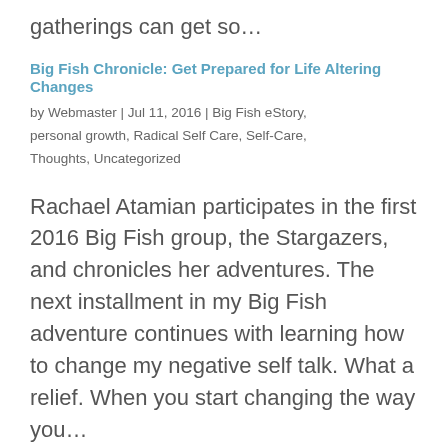gatherings can get so…
Big Fish Chronicle: Get Prepared for Life Altering Changes
by Webmaster | Jul 11, 2016 | Big Fish eStory, personal growth, Radical Self Care, Self-Care, Thoughts, Uncategorized
Rachael Atamian participates in the first 2016 Big Fish group, the Stargazers, and chronicles her adventures. The next installment in my Big Fish adventure continues with learning how to change my negative self talk. What a relief. When you start changing the way you…